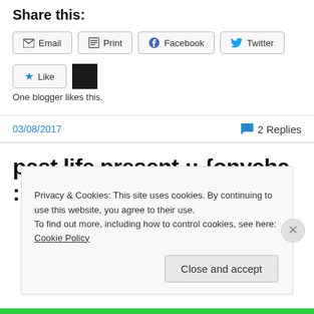Share this:
Email  Print  Facebook  Twitter
★ Like  [avatar thumbnail]
One blogger likes this.
03/08/2017   💬 2 Replies
past life present :: {onycha :: part1}
Privacy & Cookies: This site uses cookies. By continuing to use this website, you agree to their use.
To find out more, including how to control cookies, see here: Cookie Policy
Close and accept